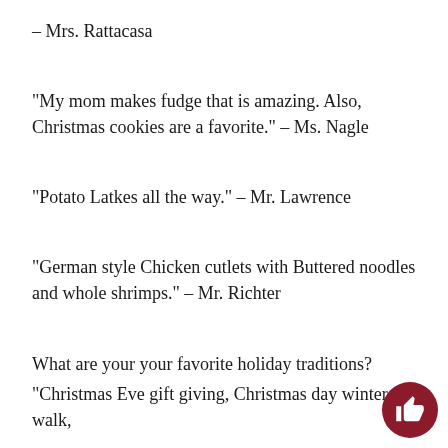– Mrs. Rattacasa
“My mom makes fudge that is amazing. Also, Christmas cookies are a favorite.” – Ms. Nagle
“Potato Latkes all the way.” – Mr. Lawrence
“German style Chicken cutlets with Buttered noodles and whole shrimps.” – Mr. Richter
What are your your favorite holiday traditions?
“Christmas Eve gift giving, Christmas day winter walk,